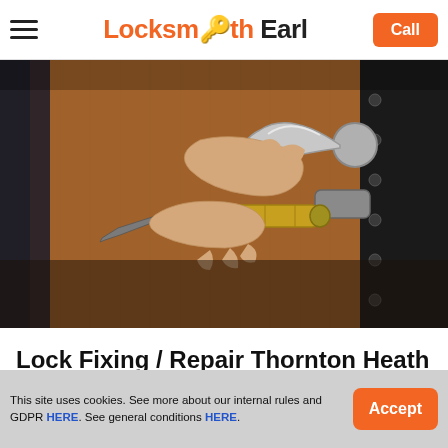Locksmith Earl — Call
[Figure (photo): Close-up photo of a person's hands working on a door lock cylinder with a tool, next to a metal door handle on a wooden door.]
Lock Fixing / Repair Thornton Heath
This site uses cookies. See more about our internal rules and GDPR HERE. See general conditions HERE.